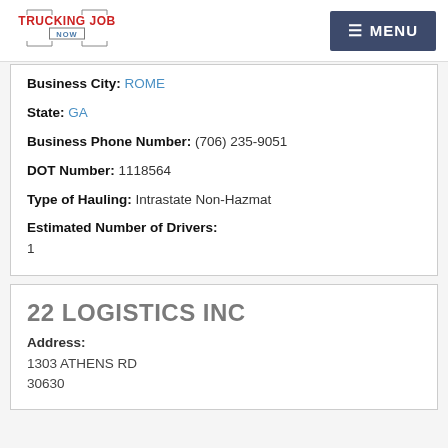TRUCKING JOB NOW | MENU
Business City: ROME
State: GA
Business Phone Number: (706) 235-9051
DOT Number: 1118564
Type of Hauling: Intrastate Non-Hazmat
Estimated Number of Drivers: 1
22 LOGISTICS INC
Address: 1303 ATHENS RD 30630